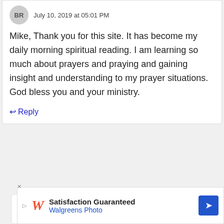BR · July 10, 2019 at 05:01 PM
Mike, Thank you for this site. It has become my daily morning spiritual reading. I am learning so much about prayers and praying and gaining insight and understanding to my prayer situations. God bless you and your ministry.
↩ Reply
[Figure (screenshot): Advertisement banner for Walgreens Photo with logo, 'Satisfaction Guaranteed' text, and blue diamond arrow icon]